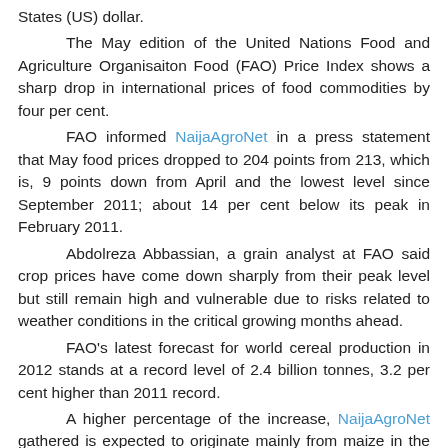States (US) dollar.
The May edition of the United Nations Food and Agriculture Organisaiton Food (FAO) Price Index shows a sharp drop in international prices of food commodities by four per cent.
FAO informed NaijaAgroNet in a press statement that May food prices dropped to 204 points from 213, which is, 9 points down from April and the lowest level since September 2011; about 14 per cent below its peak in February 2011.
Abdolreza Abbassian, a grain analyst at FAO said crop prices have come down sharply from their peak level but still remain high and vulnerable due to risks related to weather conditions in the critical growing months ahead.
FAO's latest forecast for world cereal production in 2012 stands at a record level of 2.4 billion tonnes, 3.2 per cent higher than 2011 record.
A higher percentage of the increase, NaijaAgroNet gathered is expected to originate mainly from maize in the United States amid an early start of the planting season and prevailing favourable growing conditions.
However, with planting still to be completed and much of the crop at very early stages of development, the final